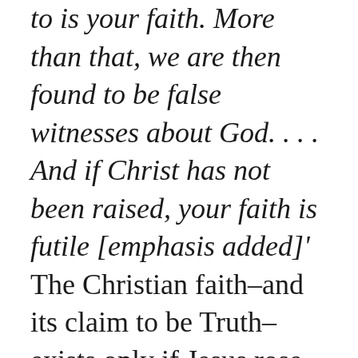to is your faith. More than that, we are then found to be false witnesses about God. . . . And if Christ has not been raised, your faith is futile [emphasis added]' The Christian faith–and its claim to be Truth–exists only if Jesus rose from the dead. The heart of Christianity is a living